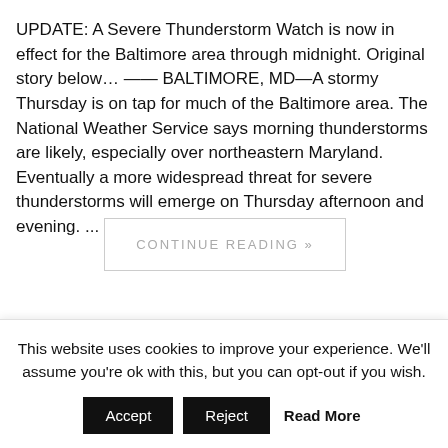UPDATE: A Severe Thunderstorm Watch is now in effect for the Baltimore area through midnight. Original story below… —— BALTIMORE, MD—A stormy Thursday is on tap for much of the Baltimore area. The National Weather Service says morning thunderstorms are likely, especially over northeastern Maryland. Eventually a more widespread threat for severe thunderstorms will emerge on Thursday afternoon and evening. ...
CONTINUE READING »
Severe Thunderstorm Watch
This website uses cookies to improve your experience. We'll assume you're ok with this, but you can opt-out if you wish.
Accept
Reject
Read More